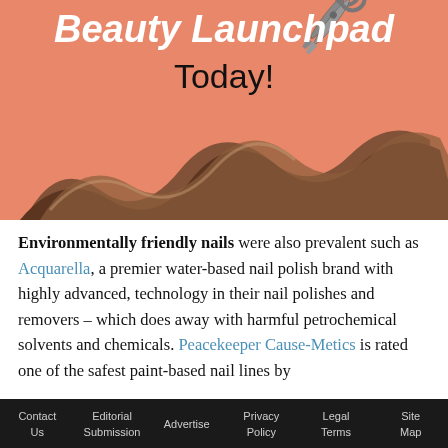[Figure (illustration): Advertisement banner for Beauty Launchpad with italic bold white text 'Beauty Launchpad' and black text 'Today!' on a salmon/coral background, with a wavy brown hair strand and a pair of silver scissors]
Environmentally friendly nails were also prevalent such as Acquarella, a premier water-based nail polish brand with highly advanced, technology in their nail polishes and removers – which does away with harmful petrochemical solvents and chemicals. Peacekeeper Cause-Metics is rated one of the safest paint-based nail lines by
Contact Us   Editorial Submission   Advertise   Privacy Policy   Legal Terms   Site Map